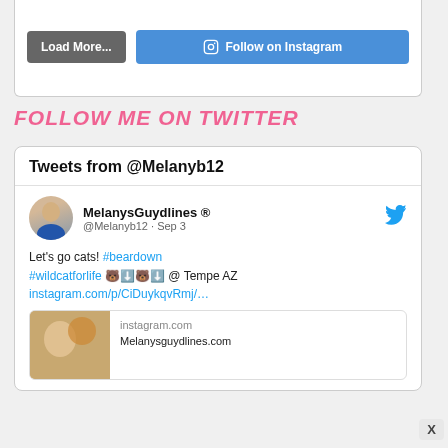[Figure (screenshot): Instagram photo strip at top of widget]
Load More...
Follow on Instagram
FOLLOW ME ON TWITTER
Tweets from @Melanyb12
MelanysGuydlines ® @Melanyb12 · Sep 3
Let's go cats! #beardown #wildcatforlife 🐻⬇️🐻⬇️ @ Tempe AZ instagram.com/p/CiDuykqvRmj/…
instagram.com Melanysguydlines.com